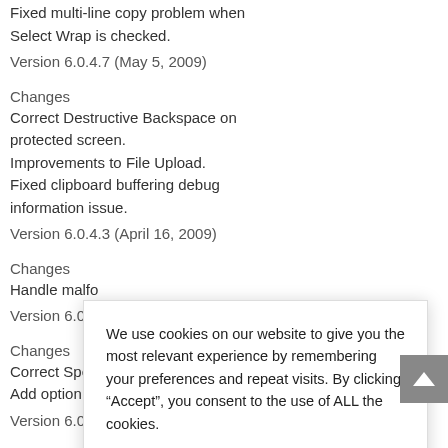Fixed multi-line copy problem when Select Wrap is checked.
Version 6.0.4.7 (May 5, 2009)
Changes
Correct Destructive Backspace on protected screen.
Improvements to File Upload.
Fixed clipboard buffering debug information issue.
Version 6.0.4.3 (April 16, 2009)
Changes
Handle malfo
Version 6.0.4.
Changes
Correct Speed
Add option to
Version 6.0.4.
Changes
We use cookies on our website to give you the most relevant experience by remembering your preferences and repeat visits. By clicking “Accept”, you consent to the use of ALL the cookies.